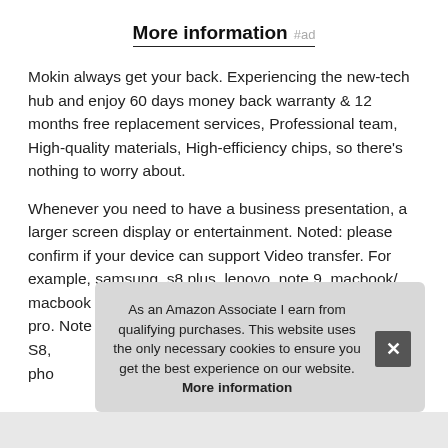More information #ad
Mokin always get your back. Experiencing the new-tech hub and enjoy 60 days money back warranty & 12 months free replacement services, Professional team, High-quality materials, High-efficiency chips, so there's nothing to worry about.
Whenever you need to have a business presentation, a larger screen display or entertainment. Noted: please confirm if your device can support Video transfer. For example, samsung, s8 plus, lenovo, note 9, macbook/ macbook pro 2020/2019/2018/2017 apple imac/ imac pro. Note 8. Google Chr... S8, pho...
As an Amazon Associate I earn from qualifying purchases. This website uses the only necessary cookies to ensure you get the best experience on our website. More information